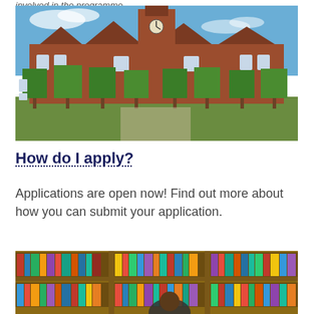involved in the programme.
[Figure (photo): Exterior view of a red-brick Victorian university building with a clock tower, surrounded by manicured square-topped trees on a sunny day.]
How do I apply?
Applications are open now! Find out more about how you can submit your application.
[Figure (photo): Library bookshelves filled with colorful books, with a person partially visible in the foreground. A 'Feedback' button overlay is visible.]